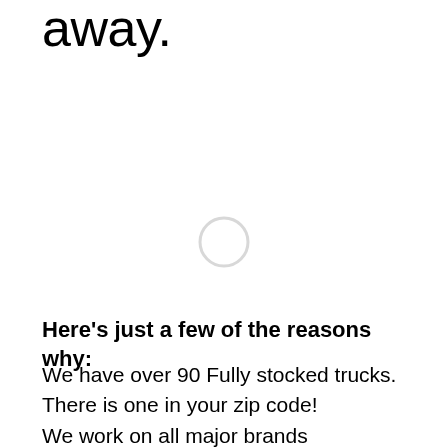away.
[Figure (other): A light gray circular loading spinner indicator centered on the page]
Here’s just a few of the reasons why:
We have over 90 Fully stocked trucks. There is one in your zip code!
We work on all major brands
Same day / next day service (90% are same